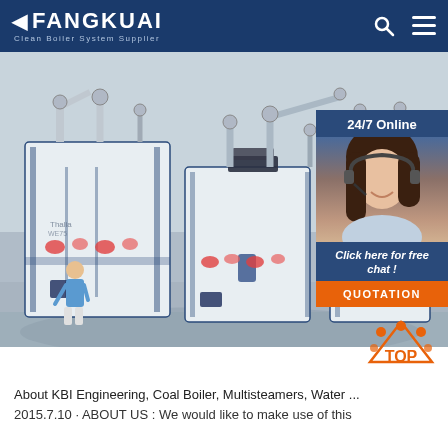FANGKUAI Clean Boiler System Supplier
[Figure (photo): Industrial clean boiler system units with pipes and valves, showing white large boiler machines in a facility with a person standing nearby for scale. A 24/7 online chat widget overlay is visible on the right side, showing a customer service representative with headset, text 'Click here for free chat!' and an orange QUOTATION button. A TOP navigation badge is at the bottom right.]
About KBI Engineering, Coal Boiler, Multisteamers, Water ...
2015.7.10 · ABOUT US : We would like to make use of this